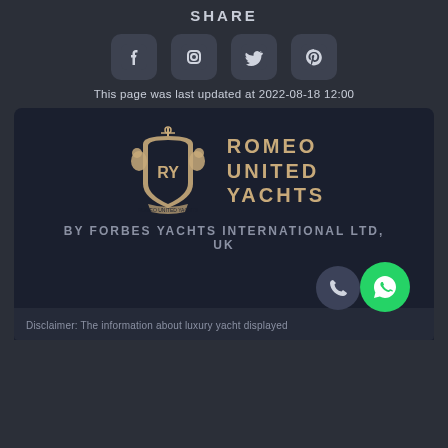SHARE
[Figure (infographic): Social media share icons: Facebook, Instagram, Twitter, Pinterest in rounded square containers]
This page was last updated at 2022-08-18 12:00
[Figure (logo): Romeo United Yachts logo with heraldic crest and two lions, text ROMEO UNITED YACHTS]
BY FORBES YACHTS INTERNATIONAL LTD, UK
Disclaimer: The information about luxury yacht displayed